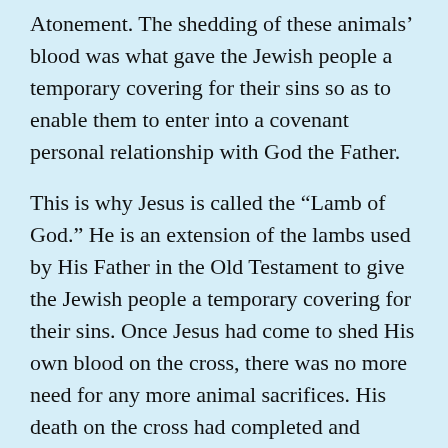Atonement. The shedding of these animals' blood was what gave the Jewish people a temporary covering for their sins so as to enable them to enter into a covenant personal relationship with God the Father.
This is why Jesus is called the “Lamb of God.” He is an extension of the lambs used by His Father in the Old Testament to give the Jewish people a temporary covering for their sins. Once Jesus had come to shed His own blood on the cross, there was no more need for any more animal sacrifices. His death on the cross had completed and fulfilled what His Father had started in the Old Testament with the sacrifice of these animals.